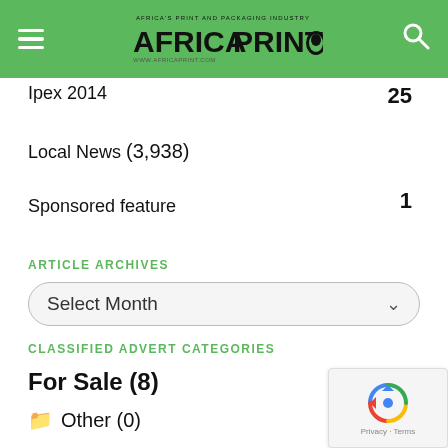Africa Print - www.africaprint.com
Ipex 2014  25
Local News (3,938)
Sponsored feature  1
ARTICLE ARCHIVES
Select Month
CLASSIFIED ADVERT CATEGORIES
For Sale (8)
Other (0)